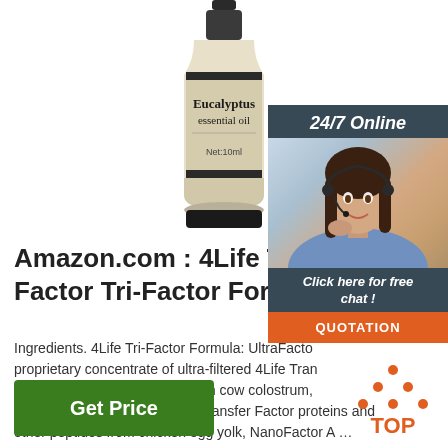[Figure (photo): Eucalyptus essential oil bottle, 10ml, dark cap, cream/gold label]
[Figure (infographic): 24/7 Online support panel with customer service agent photo, 'Click here for free chat!' text and orange QUOTATION button]
Amazon.com : 4Life Transfer Factor Tri-Factor Formula -
Ingredients. 4Life Tri-Factor Formula: UltraFactor proprietary concentrate of ultra-filtered 4Life Transfer proteins and other peptides from cow colostrum, patented concentrate of 4Life Transfer Factor proteins and other peptides from chicken egg yolk, NanoFactor A …
[Figure (other): Green 'Get Price' button]
[Figure (logo): Orange TOP logo with dots forming a triangle above the word TOP]